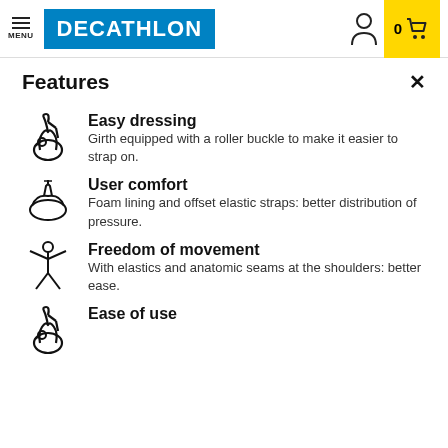MENU | DECATHLON | 0 (cart)
Features
Easy dressing
Girth equipped with a roller buckle to make it easier to strap on.
User comfort
Foam lining and offset elastic straps: better distribution of pressure.
Freedom of movement
With elastics and anatomic seams at the shoulders: better ease.
Ease of use